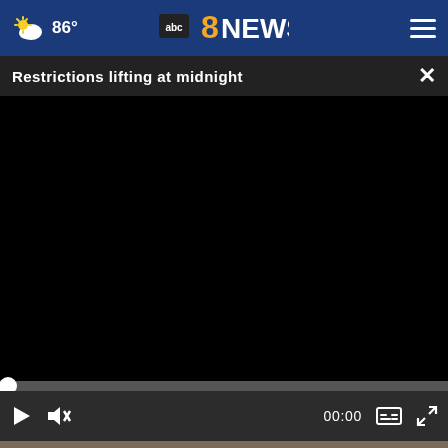86° — ABC 8 NEWS navigation bar
Restrictions lifting at midnight
[Figure (screenshot): Black video player with progress bar and playback controls showing 00:00]
[Figure (photo): Partial view of a person sitting at a table with green chairs in a meeting room]